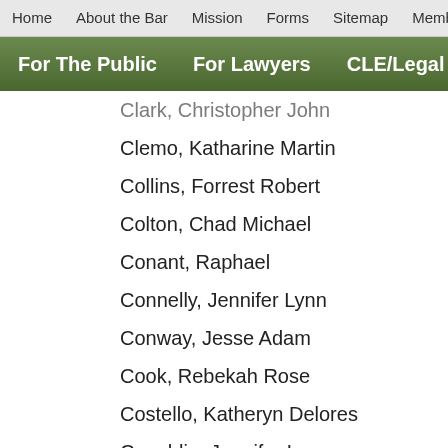Home | About the Bar | Mission | Forms | Sitemap | Member Dire
For The Public | For Lawyers | CLE/Legal Publications
Clark, Christopher John
Clemo, Katharine Martin
Collins, Forrest Robert
Colton, Chad Michael
Conant, Raphael
Connelly, Jennifer Lynn
Conway, Jesse Adam
Cook, Rebekah Rose
Costello, Katheryn Delores
Coughlin, Jennifer Lee
Crawshaw, Garrett Watanabe
Cribbins, Melissa Trefla